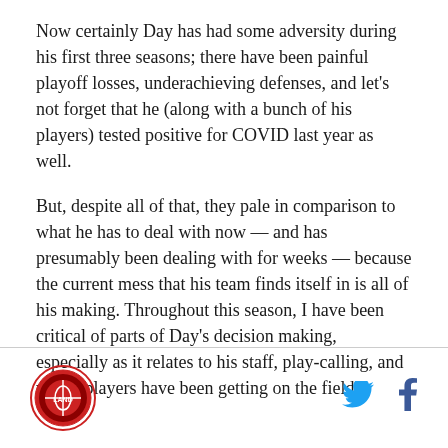Now certainly Day has had some adversity during his first three seasons; there have been painful playoff losses, underachieving defenses, and let's not forget that he (along with a bunch of his players) tested positive for COVID last year as well.
But, despite all of that, they pale in comparison to what he has to deal with now — and has presumably been dealing with for weeks — because the current mess that his team finds itself in is all of his making. Throughout this season, I have been critical of parts of Day's decision making, especially as it relates to his staff, play-calling, and which players have been getting on the field.
[Figure (logo): Circular sports team logo with red border]